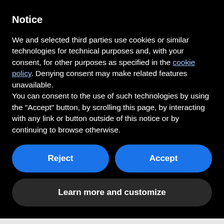Notice
We and selected third parties use cookies or similar technologies for technical purposes and, with your consent, for other purposes as specified in the cookie policy. Denying consent may make related features unavailable.
You can consent to the use of such technologies by using the "Accept" button, by scrolling this page, by interacting with any link or button outside of this notice or by continuing to browse otherwise.
Reject
Accept
Learn more and customize
passphrase for Social Security? How about this one? Show me the money. That’s a good one for Social Security. That would be unique